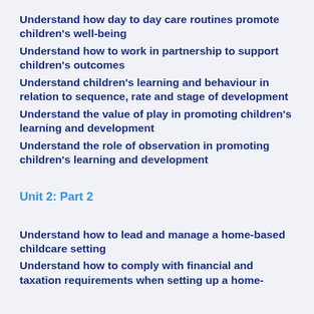Understand how day to day care routines promote children's well-being
Understand how to work in partnership to support children's outcomes
Understand children's learning and behaviour in relation to sequence, rate and stage of development
Understand the value of play in promoting children's learning and development
Understand the role of observation in promoting children's learning and development
Unit 2: Part 2
Understand how to lead and manage a home-based childcare setting
Understand how to comply with financial and taxation requirements when setting up a home-